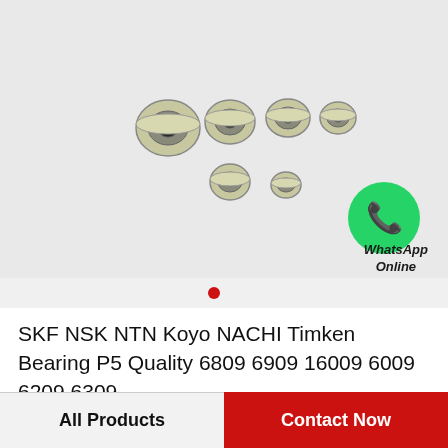[Figure (photo): Six miniature ball bearings of varying sizes arranged in two rows on a light gray background, with a WhatsApp Online green bubble icon at the bottom right of the image area]
WhatsApp Online
SKF NSK NTN Koyo NACHI Timken Bearing P5 Quality 6809 6909 16009 6009 6209 6309…
All Products
Contact Now